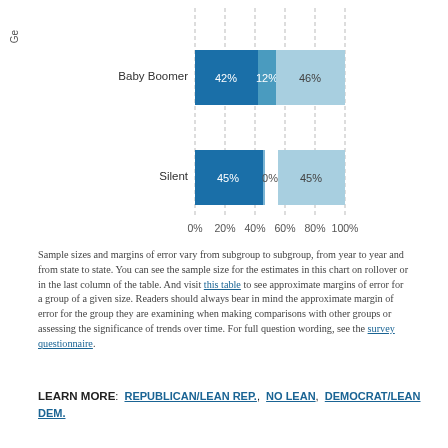[Figure (stacked-bar-chart): Generational party affiliation (partial)]
Sample sizes and margins of error vary from subgroup to subgroup, from year to year and from state to state. You can see the sample size for the estimates in this chart on rollover or in the last column of the table. And visit this table to see approximate margins of error for a group of a given size. Readers should always bear in mind the approximate margin of error for the group they are examining when making comparisons with other groups or assessing the significance of trends over time. For full question wording, see the survey questionnaire.
LEARN MORE: REPUBLICAN/LEAN REP., NO LEAN, DEMOCRAT/LEAN DEM.